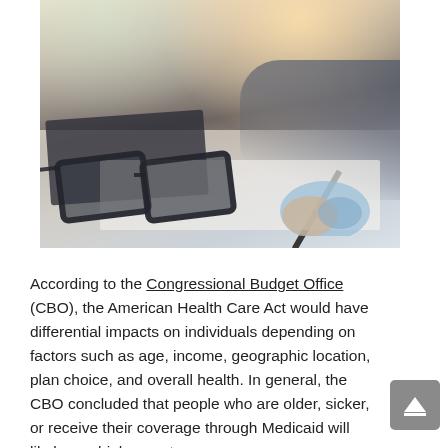[Figure (photo): A photo of a person's hands writing on paper documents with charts/graphs visible, a calculator, glasses, and financial papers on a desk. Another person is partially visible holding a smartphone.]
According to the Congressional Budget Office (CBO), the American Health Care Act would have differential impacts on individuals depending on factors such as age, income, geographic location, plan choice, and overall health. In general, the CBO concluded that people who are older, sicker, or receive their coverage through Medicaid will likely see higher costs or